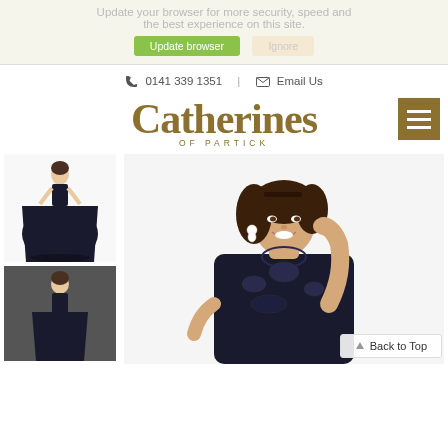Update your browser for more security, speed and the best experience on this site.
Update browser   Ignore
📞 0141 339 1351   ✉ Email Us
Catherines OF PARTICK
[Figure (photo): Woman in black ball gown prom dress (thumbnail) and second thumbnail showing back view of black dress]
[Figure (photo): Close-up of smiling woman wearing black sleeveless embellished gown, posing with hand near face]
Back to Top